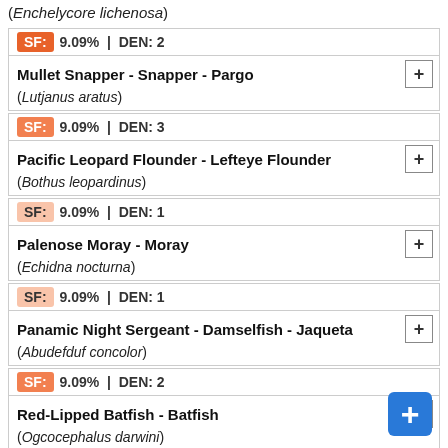(Enchelycore lichenosa)
SF: 9.09% | DEN: 2 — Mullet Snapper - Snapper - Pargo (Lutjanus aratus)
SF: 9.09% | DEN: 3 — Pacific Leopard Flounder - Lefteye Flounder (Bothus leopardinus)
SF: 9.09% | DEN: 1 — Palenose Moray - Moray (Echidna nocturna)
SF: 9.09% | DEN: 1 — Panamic Night Sergeant - Damselfish - Jaqueta (Abudefduf concolor)
SF: 9.09% | DEN: 2 — Red-Lipped Batfish - Batfish (Ogcocephalus darwini)
SF: 9.09% | DEN: 1 — Redhead Goby - Goby - Gobio (Tigrigobius puncticulatus)
SF: 9.09% | DEN: 2 — Redside Blenny - Blenny